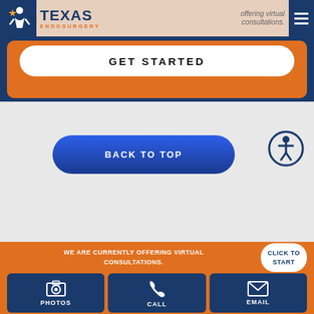[Figure (screenshot): Texas Endosurgery website screenshot showing navigation bar with logo, GET STARTED button on orange/blue hero banner, BACK TO TOP button in center, accessibility icon, and orange footer with virtual consultations message, CLICK TO START button, and PHOTOS/CALL/EMAIL action buttons]
COVID-19 UPDATE: We are currently offering virtual consultations.
GET STARTED
BACK TO TOP
WE ARE CURRENTLY OFFERING VIRTUAL CONSULTATIONS.
CLICK TO START
PHOTOS
CALL
EMAIL